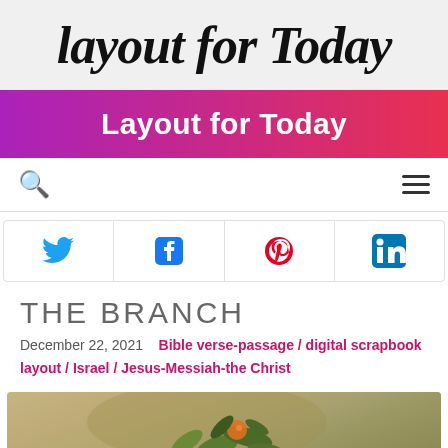layout for Today
Layout for Today
[Figure (other): Navigation bar with search icon (magnifying glass) and hamburger menu icon]
[Figure (other): Social media sharing icons row: Twitter (blue bird), Facebook (blue f), Pinterest (red p), LinkedIn (blue in)]
THE BRANCH
December 22, 2021   Bible verse-passage / digital scrapbook layout / Israel / Jesus-Messiah-the Christ
[Figure (photo): Partial photo of a botanical/nature scrapbook layout showing leaves and plant imagery on a textured tan/olive background]